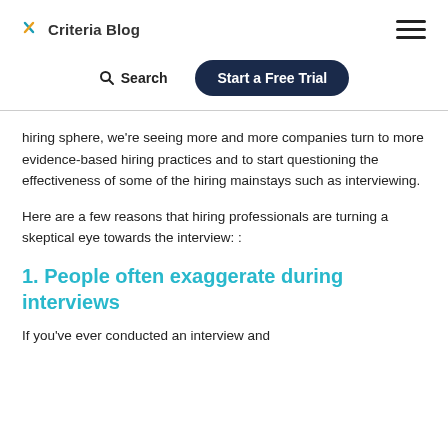Criteria Blog
hiring sphere, we're seeing more and more companies turn to more evidence-based hiring practices and to start questioning the effectiveness of some of the hiring mainstays such as interviewing.
Here are a few reasons that hiring professionals are turning a skeptical eye towards the interview: :
1. People often exaggerate during interviews
If you've ever conducted an interview and